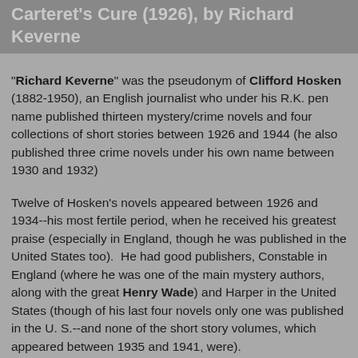Carteret's Cure (1926), by Richard Keverne
"Richard Keverne" was the pseudonym of Clifford Hosken (1882-1950), an English journalist who under his R.K. pen name published thirteen mystery/crime novels and four collections of short stories between 1926 and 1944 (he also published three crime novels under his own name between 1930 and 1932)
Twelve of Hosken's novels appeared between 1926 and 1934--his most fertile period, when he received his greatest praise (especially in England, though he was published in the United States too).  He had good publishers, Constable in England (where he was one of the main mystery authors, along with the great Henry Wade) and Harper in the United States (though of his last four novels only one was published in the U. S.--and none of the short story volumes, which appeared between 1935 and 1941, were).
Since his World War Two, however, "Richard Keverne" has been placed in the teeming ranks of once admired but now